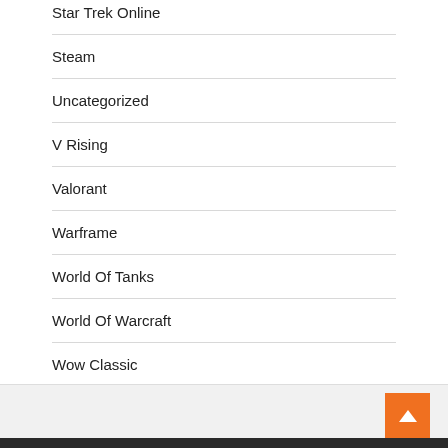Star Trek Online
Steam
Uncategorized
V Rising
Valorant
Warframe
World Of Tanks
World Of Warcraft
Wow Classic